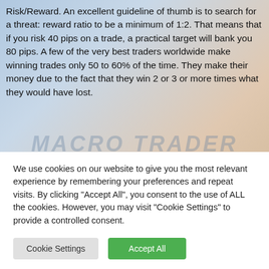Risk/Reward. An excellent guideline of thumb is to search for a threat: reward ratio to be a minimum of 1:2. That means that if you risk 40 pips on a trade, a practical target will bank you 80 pips. A few of the very best traders worldwide make winning trades only 50 to 60% of the time. They make their money due to the fact that they win 2 or 3 or more times what they would have lost.
So there you are. It sounds basic when looked at from this high level summary. The truth is however, that it's actually tough. The data of unsuccessful traders plainly reveal that. Success takes an extended period of time. Whether you associate with my view of the
We use cookies on our website to give you the most relevant experience by remembering your preferences and repeat visits. By clicking "Accept All", you consent to the use of ALL the cookies. However, you may visit "Cookie Settings" to provide a controlled consent.